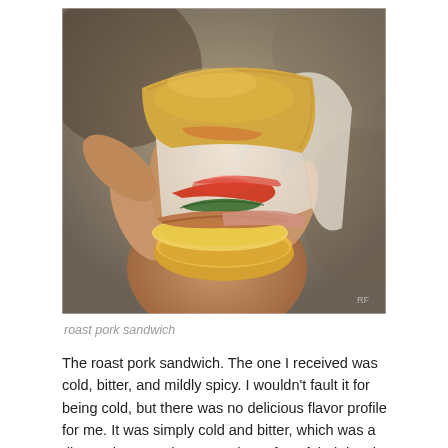[Figure (photo): A hand holding a roast pork sandwich wrapped in white paper, showing layers of roasted red peppers, greens, pork and cheese on a roll, photographed close-up with blurred background. RF watermark in bottom right corner.]
roast pork sandwich
The roast pork sandwich. The one I received was cold, bitter, and mildly spicy. I wouldn't fault it for being cold, but there was no delicious flavor profile for me. It was simply cold and bitter, which was a disappointment since I'm a huge fan of their lunch sandwiches (specifically the Turkey Panama).